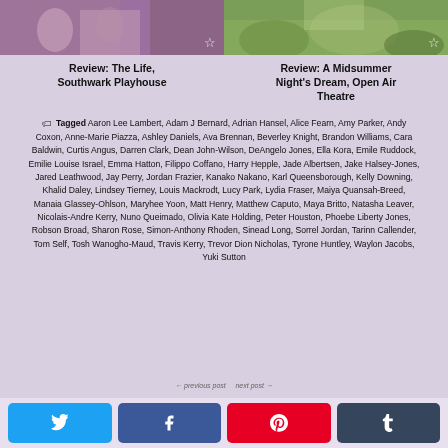[Figure (photo): Photo from The Life, Southwark Playhouse show with purple tones]
Review: The Life, Southwark Playhouse
[Figure (photo): Photo from A Midsummer Night's Dream, Open Air Theatre with green foliage]
Review: A Midsummer Night's Dream, Open Air Theatre
Tagged Aaron Lee Lambert, Adam J Bernard, Adrian Hansel, Alice Fearn, Amy Parker, Andy Coxon, Anne-Marie Piazza, Ashley Daniels, Ava Brennan, Beverley Knight, Brandon Williams, Cara Baldwin, Curtis Angus, Darren Clark, Dean John-Wilson, DeAngelo Jones, Ella Kora, Emile Ruddock, Emilie Louise Israel, Emma Hatton, Filippo Coffano, Harry Hepple, Jade Albertsen, Jake Halsey-Jones, Jared Leathwood, Jay Perry, Jordan Frazier, Kanako Nakano, Karl Queensborough, Kelly Downing, Khalid Daley, Lindsey Tierney, Louis Mackrodt, Lucy Park, Lydia Fraser, Maiya Quansah-Breed, Manaia Glassey-Ohlson, Maryhee Yoon, Matt Henry, Matthew Caputo, Maya Britto, Natasha Leaver, Nicolais-Andre Kerry, Nuno Queimado, Olivia Kate Holding, Peter Houston, Phoebe Liberty Jones, Robson Broad, Sharon Rose, Simon-Anthony Rhoden, Sinead Long, Sorrel Jordan, Tarinn Callender, Tom Self, Tosh Wanogho-Maud, Travis Kerry, Trevor Dion Nicholas, Tyrone Huntley, Waylon Jacobs, Yuki Sutton